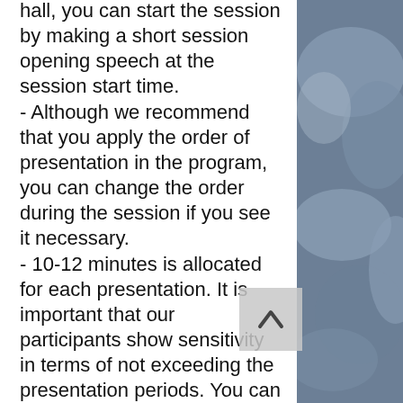hall, you can start the session by making a short session opening speech at the session start time. - Although we recommend that you apply the order of presentation in the program, you can change the order during the session if you see it necessary. - 10-12 minutes is allocated for each presentation. It is important that our participants show sensitivity in terms of not exceeding the presentation periods. You can do the question and answer part after each presentation or at the end of the session. - As the chairman of the session, you can contact us on any issue. We wish a good congress with your valuable contributions.